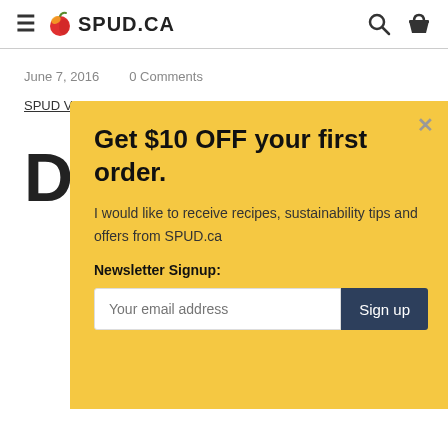SPUD.CA
June 7, 2016    0 Comments
SPUD Vancouver, Vendors We Love
[Figure (screenshot): Modal popup with yellow background offering $10 OFF first order, newsletter signup form with email input and Sign up button]